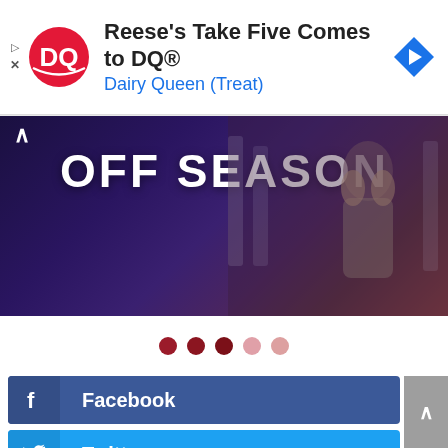[Figure (screenshot): Dairy Queen advertisement banner with DQ logo, text 'Reese's Take Five Comes to DQ® Dairy Queen (Treat)', and blue arrow navigation icon]
[Figure (photo): Movie promotional image for 'OFF SEASON' showing dark horror/thriller atmosphere with a person and text overlaid]
[Figure (infographic): Carousel navigation dots — 3 dark red dots and 2 light pink dots indicating slideshow position]
[Figure (screenshot): Facebook share button — dark blue with Facebook 'f' icon and label 'Facebook']
[Figure (screenshot): Twitter share button — bright blue with Twitter bird icon and label 'Twitter']
[Figure (screenshot): Tumblr share button — dark slate blue with Tumblr 't' icon and label 'Tumblr']